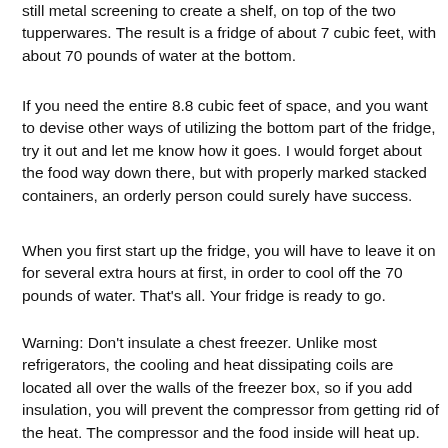still metal screening to create a shelf, on top of the two tupperwares. The result is a fridge of about 7 cubic feet, with about 70 pounds of water at the bottom.
If you need the entire 8.8 cubic feet of space, and you want to devise other ways of utilizing the bottom part of the fridge, try it out and let me know how it goes. I would forget about the food way down there, but with properly marked stacked containers, an orderly person could surely have success.
When you first start up the fridge, you will have to leave it on for several extra hours at first, in order to cool off the 70 pounds of water. That's all. Your fridge is ready to go.
Warning: Don't insulate a chest freezer. Unlike most refrigerators, the cooling and heat dissipating coils are located all over the walls of the freezer box, so if you add insulation, you will prevent the compressor from getting rid of the heat. The compressor and the food inside will heat up. When the freezer is running, you can verify this by putting your hand on the outside of the freezer; it's quite warm. An exception on our freezer is the lid. There are no heating or